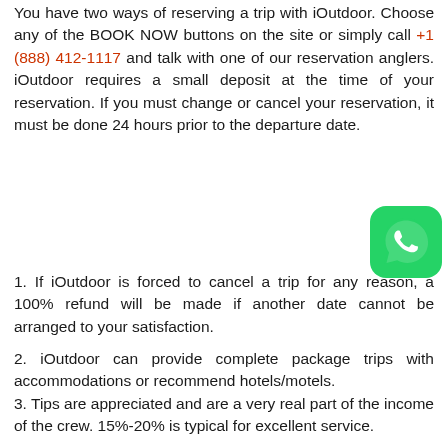You have two ways of reserving a trip with iOutdoor. Choose any of the BOOK NOW buttons on the site or simply call +1 (888) 412-1117 and talk with one of our reservation anglers. iOutdoor requires a small deposit at the time of your reservation. If you must change or cancel your reservation, it must be done 24 hours prior to the departure date.
[Figure (logo): WhatsApp logo — green rounded square icon with white phone handset]
1. If iOutdoor is forced to cancel a trip for any reason, a 100% refund will be made if another date cannot be arranged to your satisfaction.
2. iOutdoor can provide complete package trips with accommodations or recommend hotels/motels.
3. Tips are appreciated and are a very real part of the income of the crew. 15%-20% is typical for excellent service.